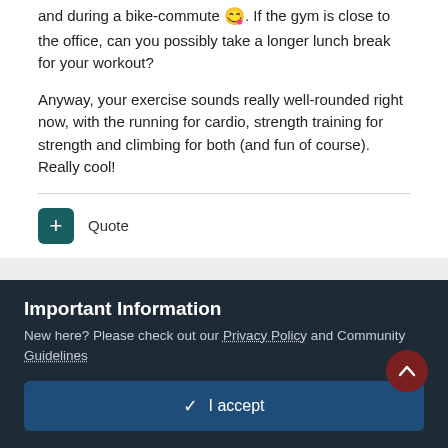and during a bike-commute 😋. If the gym is close to the office, can you possibly take a longer lunch break for your workout?
Anyway, your exercise sounds really well-rounded right now, with the running for cardio, strength training for strength and climbing for both (and fun of course). Really cool!
+ Quote
Mad Hatter
Posted September 21, 2020
Important Information
New here? Please check out our Privacy Policy and Community Guidelines
✓  I accept